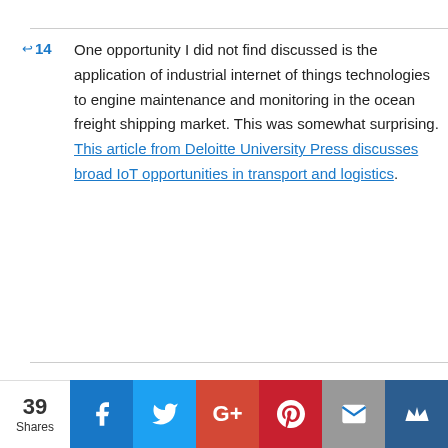One opportunity I did not find discussed is the application of industrial internet of things technologies to engine maintenance and monitoring in the ocean freight shipping market. This was somewhat surprising. This article from Deloitte University Press discusses broad IoT opportunities in transport and logistics.
Filed Under: Entrepreneurship, Industry Study
39 Shares